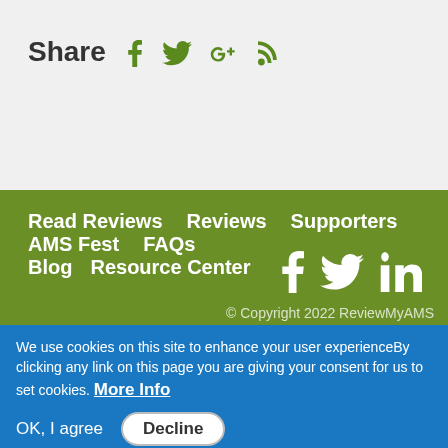Share  f  tw  G+  RSS
Read Reviews   Reviews   Supporters   AMS Fest   FAQs   Blog   Resource Center
[Figure (other): Social media icons: Facebook, Twitter, LinkedIn in white on green footer]
© Copyright 2022 ReviewMyAMS
We use cookies on this site to enhance your user experienceBy clicking any link on this page you are giving your consent for us to set cookies.  More Info
OK, I agree   Decline